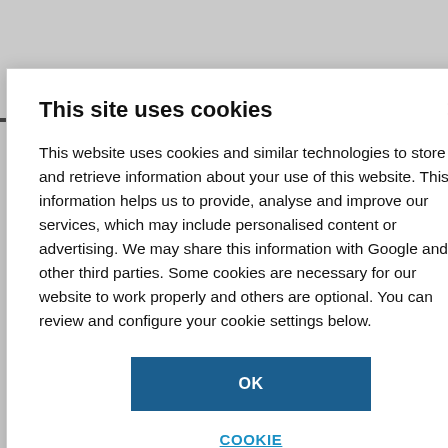POPULAR
-triangulene in
entific secrets
avouritism of
This site uses cookies
This website uses cookies and similar technologies to store and retrieve information about your use of this website. This information helps us to provide, analyse and improve our services, which may include personalised content or advertising. We may share this information with Google and other third parties. Some cookies are necessary for our website to work properly and others are optional. You can review and configure your cookie settings below.
OK
COOKIE SETTINGS